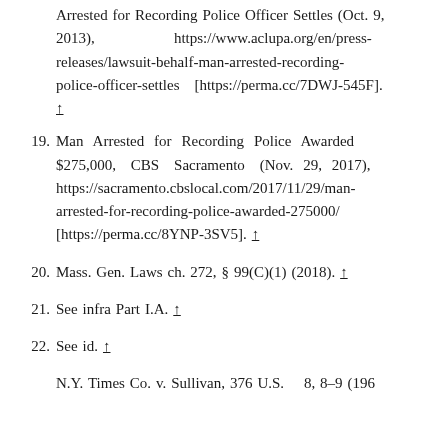(continuation) Arrested for Recording Police Officer Settles (Oct. 9, 2013), https://www.aclupa.org/en/press-releases/lawsuit-behalf-man-arrested-recording-police-officer-settles [https://perma.cc/7DWJ-545F]. ↑
19. Man Arrested for Recording Police Awarded $275,000, CBS Sacramento (Nov. 29, 2017), https://sacramento.cbslocal.com/2017/11/29/man-arrested-for-recording-police-awarded-275000/ [https://perma.cc/8YNP-3SV5]. ↑
20. Mass. Gen. Laws ch. 272, § 99(C)(1) (2018). ↑
21. See infra Part I.A. ↑
22. See id. ↑
N.Y. Times Co. v. Sullivan, 376 U.S. ___ 8, 8–9 (196_) (truncated)